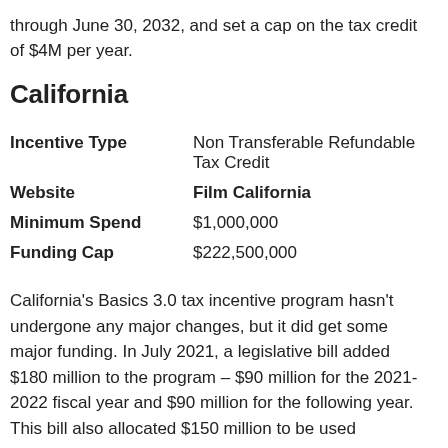through June 30, 2032, and set a cap on the tax credit of $4M per year.
California
| Incentive Type | Non Transferable Refundable Tax Credit |
| Website | Film California |
| Minimum Spend | $1,000,000 |
| Funding Cap | $222,500,000 |
California's Basics 3.0 tax incentive program hasn't undergone any major changes, but it did get some major funding. In July 2021, a legislative bill added $180 million to the program – $90 million for the 2021-2022 fiscal year and $90 million for the following year. This bill also allocated $150 million to be used